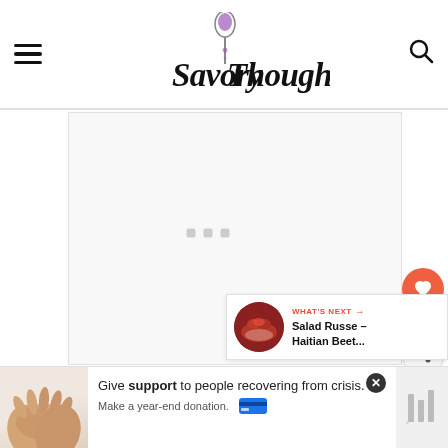Savory Thoughts — website header with hamburger menu and search icon
[Figure (screenshot): Large empty advertisement placeholder area with three small gray loading dots in the center]
[Figure (infographic): Heart favorite button (orange/coral circle with white heart icon), count label '2', and share button (gray circle with share icon)]
[Figure (screenshot): What's Next panel showing a thumbnail of a beet salad dish and text 'WHAT'S NEXT → Salad Russe – Haitian Beet...']
[Figure (screenshot): Bottom advertisement banner: image of hands clasped together on left, text 'Give support to people recovering from crisis. Make a year-end donation.' with credit card icon, and a gray logo area on right with X close button]